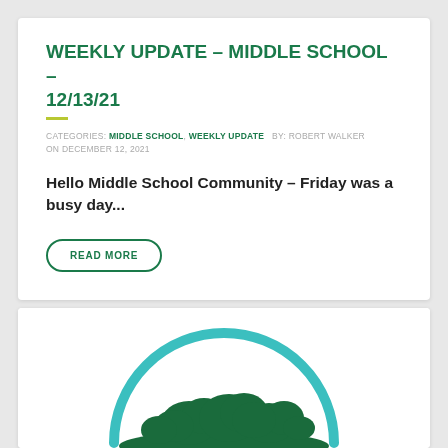WEEKLY UPDATE – MIDDLE SCHOOL – 12/13/21
CATEGORIES: MIDDLE SCHOOL, WEEKLY UPDATE  BY: ROBERT WALKER  ON DECEMBER 12, 2021
Hello Middle School Community – Friday was a busy day...
READ MORE
[Figure (logo): Circular logo with teal arc border and dark green tree/landscape silhouette illustration inside, partially visible at bottom of page]